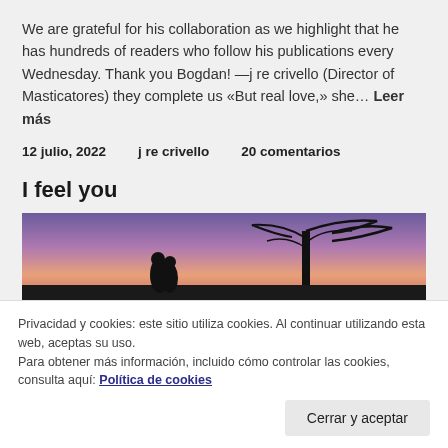We are grateful for his collaboration as we highlight that he has hundreds of readers who follow his publications every Wednesday. Thank you Bogdan! —j re crivello (Director of Masticatores) they complete us «But real love,» she... Leer más
12 julio, 2022   j re crivello   20 comentarios
I feel you
[Figure (photo): Silhouette of a couple embracing under a tree against a purple/pink sunset sky]
Privacidad y cookies: este sitio utiliza cookies. Al continuar utilizando esta web, aceptas su uso.
Para obtener más información, incluido cómo controlar las cookies, consulta aquí: Política de cookies